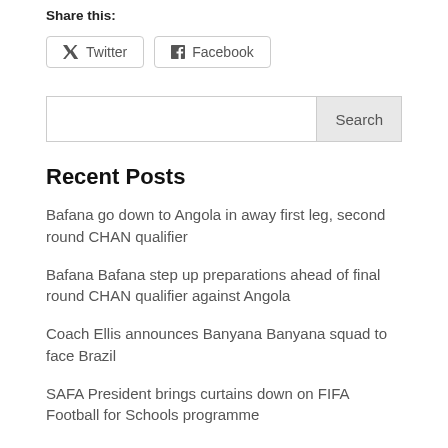Share this:
[Figure (other): Twitter and Facebook share buttons]
[Figure (other): Search bar with Search button]
Recent Posts
Bafana go down to Angola in away first leg, second round CHAN qualifier
Bafana Bafana step up preparations ahead of final round CHAN qualifier against Angola
Coach Ellis announces Banyana Banyana squad to face Brazil
SAFA President brings curtains down on FIFA Football for Schools programme